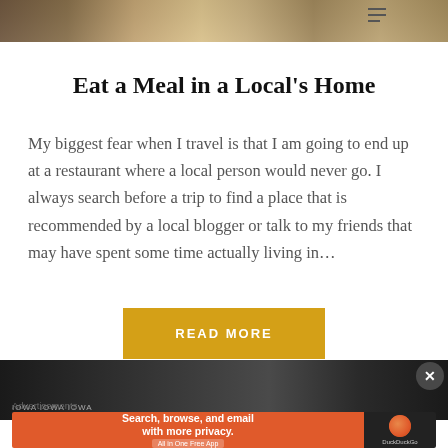[Figure (photo): Partial top image showing food/dining scene, cropped at top of page]
Eat a Meal in a Local's Home
My biggest fear when I travel is that I am going to end up at a restaurant where a local person would never go. I always search before a trip to find a place that is recommended by a local blogger or talk to my friends that may have spent some time actually living in…
READ MORE
[Figure (photo): Partial bottom image showing street/urban scene, cropped]
[Figure (screenshot): Advertisement banner: DuckDuckGo - Search, browse, and email with more privacy. All in One Free App.]